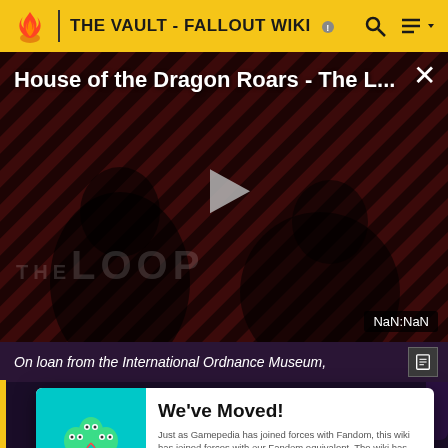THE VAULT - FALLOUT WIKI
[Figure (screenshot): Video player showing 'House of the Dragon Roars - The L...' with a play button in the center, dark red diagonal stripe background, two figures in shadow, 'THE LOOP' text watermark, and NaN:NaN timestamp in bottom right corner.]
On loan from the International Ordnance Museum,
[Figure (illustration): Three-headed cartoon snake/serpent creature on teal background]
We've Moved!
Just as Gamepedia has joined forces with Fandom, this wiki has joined forces with our Fandom equivalent. The wiki has been archived and we ask that readers and editors move to the new combined wiki on Fandom.
GO TO NEW WIKI →